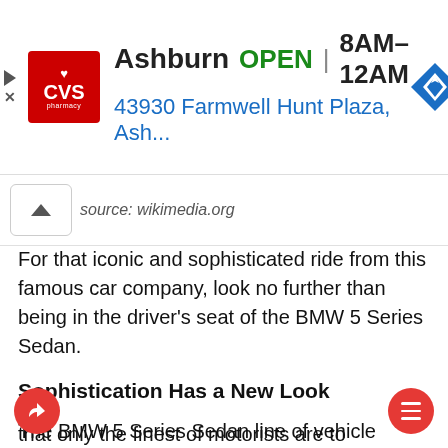[Figure (screenshot): CVS Pharmacy ad banner showing Ashburn location, OPEN 8AM-12AM, address 43930 Farmwell Hunt Plaza, Ash..., with navigation icon]
source: wikimedia.org
For that iconic and sophisticated ride from this famous car company, look no further than being in the driver's seat of the BMW 5 Series Sedan.
Sophistication Has a New Look
The BMW 5 Series Sedan line of vehicle features only the best in the iconic BMW looks. Built to perform with its aerodynamic curves, the car's interior is also apt to impress: Nappa leather brings about an exquisite taste that only the finest of motorists are to appreciate.